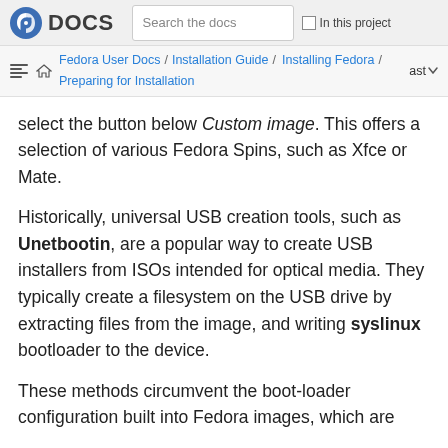DOCS | Search the docs | In this project
Fedora User Docs / Installation Guide / Installing Fedora / Preparing for Installation | ast
select the button below Custom image. This offers a selection of various Fedora Spins, such as Xfce or Mate.
Historically, universal USB creation tools, such as Unetbootin, are a popular way to create USB installers from ISOs intended for optical media. They typically create a filesystem on the USB drive by extracting files from the image, and writing syslinux bootloader to the device.
These methods circumvent the boot-loader configuration built into Fedora images, which are